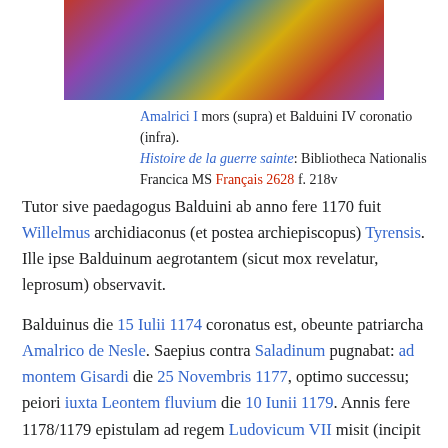[Figure (photo): Medieval illuminated manuscript scene showing figures in robes, coronation or death scene, gold and red/blue colors]
Amalrici I mors (supra) et Balduini IV coronatio (infra). Histoire de la guerre sainte: Bibliotheca Nationalis Francica MS Français 2628 f. 218v
Tutor sive paedagogus Balduini ab anno fere 1170 fuit Willelmus archidiaconus (et postea archiepiscopus) Tyrensis. Ille ipse Balduinum aegrotantem (sicut mox revelatur, leprosum) observavit.
Balduinus die 15 Iulii 1174 coronatus est, obeunte patriarcha Amalrico de Nesle. Saepius contra Saladinum pugnabat: ad montem Gisardi die 25 Novembris 1177, optimo successu; peiori iuxta Leontem fluvium die 10 Iunii 1179. Annis fere 1178/1179 epistulam ad regem Ludovicum VII misit (incipit "Ad gerenda regis negotia") qua postulavit nobilem aliquem e regno Francico ad